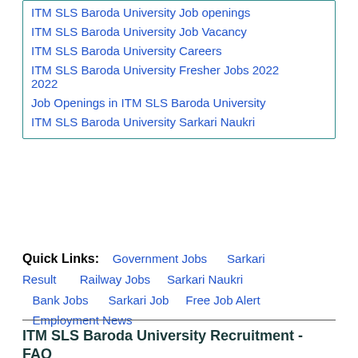ITM SLS Baroda University Job openings
ITM SLS Baroda University Job Vacancy
ITM SLS Baroda University Careers
ITM SLS Baroda University Fresher Jobs 2022
2022
Job Openings in ITM SLS Baroda University
ITM SLS Baroda University Sarkari Naukri
Quick Links: Government Jobs  Sarkari Result  Railway Jobs  Sarkari Naukri  Bank Jobs  Sarkari Job  Free Job Alert  Employment News
ITM SLS Baroda University Recruitment - FAQ